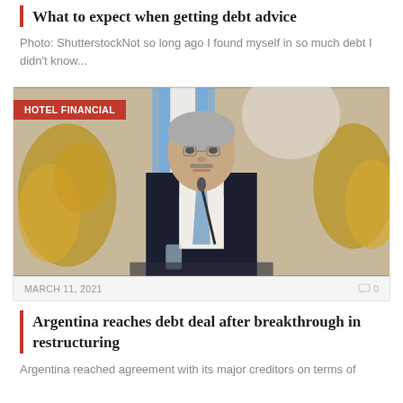What to expect when getting debt advice
Photo: ShutterstockNot so long ago I found myself in so much debt I didn't know...
[Figure (photo): A man in a dark suit and light blue tie speaking at a podium with a microphone, in front of ornate golden decor and an Argentine flag. Badge reads HOTEL FINANCIAL.]
MARCH 11, 2021
0
Argentina reaches debt deal after breakthrough in restructuring
Argentina reached agreement with its major creditors on terms of